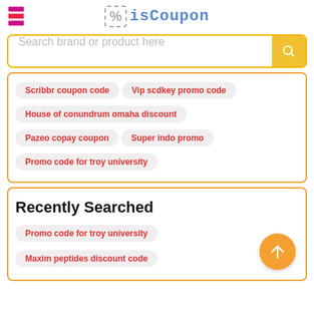isCoupon
Search brand or product here
Scribbr coupon code
Vip scdkey promo code
House of conundrum omaha discount
Pazeo copay coupon
Super indo promo
Promo code for troy university
Recently Searched
Promo code for troy university
Maxim peptides discount code